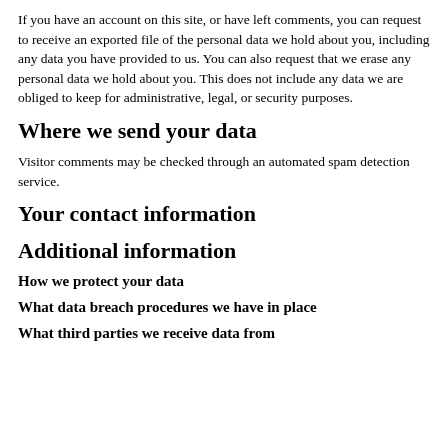If you have an account on this site, or have left comments, you can request to receive an exported file of the personal data we hold about you, including any data you have provided to us. You can also request that we erase any personal data we hold about you. This does not include any data we are obliged to keep for administrative, legal, or security purposes.
Where we send your data
Visitor comments may be checked through an automated spam detection service.
Your contact information
Additional information
How we protect your data
What data breach procedures we have in place
What third parties we receive data from